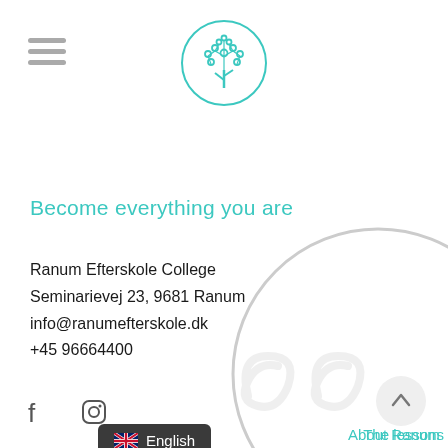[Figure (logo): Circular teal logo with a stylized tree made of dots/circles inside a circle outline — Ranum Efterskole College logo]
Become everything you are
Ranum Efterskole College
Seminarievej 23, 9681 Ranum
info@ranumefterskole.dk
+45 96664400
[Figure (illustration): Facebook and Instagram social media icons]
[Figure (illustration): Language selector button showing UK flag and 'English' text on dark background]
[Figure (illustration): Back-to-top arrow button (circle with upward arrow)]
[Figure (illustration): Decorative large light gray circle outline in lower right corner]
[Figure (illustration): Decorative gray watermark swirl/heart shapes at bottom right]
About Ranum
The lessons